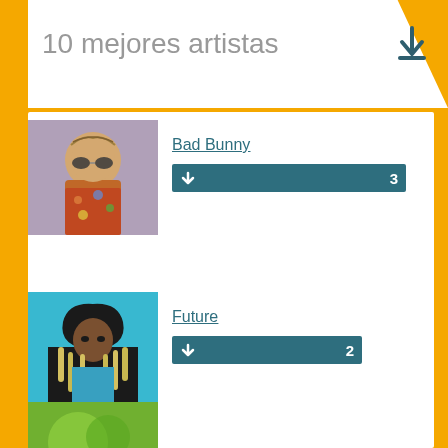10 mejores artistas
[Figure (photo): Photo of Bad Bunny - artist with cornrows and sunglasses wearing colorful shirt]
Bad Bunny
↓ 3
[Figure (photo): Photo of Future - artist in black hoodie with long blonde dreads on teal background]
Future
↓ 2
[Figure (photo): Photo of George Ezra - young man in black jacket on grey background]
George Ezra
↓ 1
[Figure (photo): Partial photo of fourth artist - partially visible at bottom]